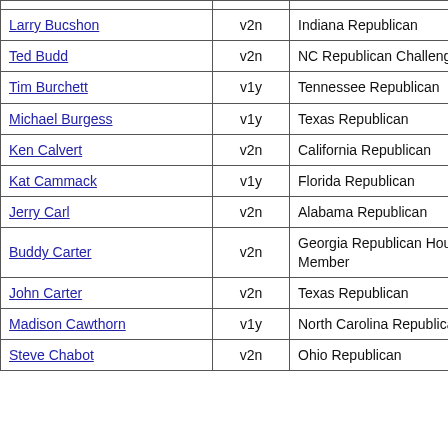| Name | Code | State/Party |  |
| --- | --- | --- | --- |
| Larry Bucshon | v2n | Indiana Republican |  |
| Ted Budd | v2n | NC Republican Challenger |  |
| Tim Burchett | v1y | Tennessee Republican |  |
| Michael Burgess | v1y | Texas Republican |  |
| Ken Calvert | v2n | California Republican |  |
| Kat Cammack | v1y | Florida Republican |  |
| Jerry Carl | v2n | Alabama Republican |  |
| Buddy Carter | v2n | Georgia Republican House Member |  |
| John Carter | v2n | Texas Republican |  |
| Madison Cawthorn | v1y | North Carolina Republican |  |
| Steve Chabot | v2n | Ohio Republican |  |